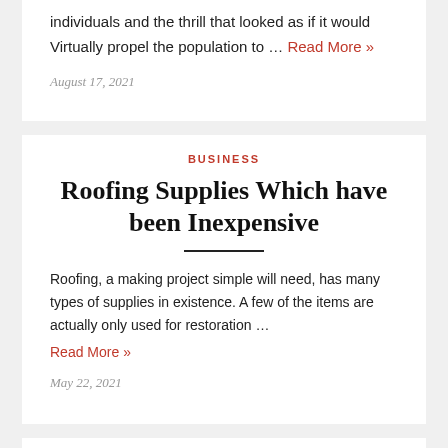individuals and the thrill that looked as if it would Virtually propel the population to … Read More »
August 17, 2021
BUSINESS
Roofing Supplies Which have been Inexpensive
Roofing, a making project simple will need, has many types of supplies in existence. A few of the items are actually only used for restoration … Read More »
May 22, 2021